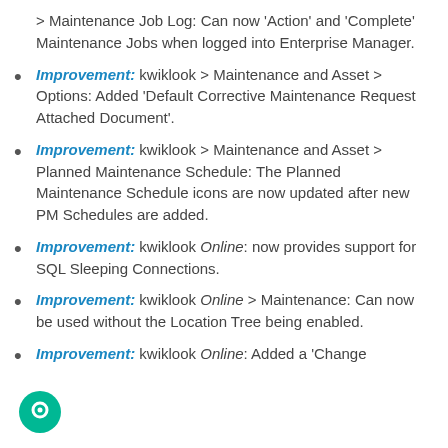> Maintenance Job Log: Can now 'Action' and 'Complete' Maintenance Jobs when logged into Enterprise Manager.
Improvement: kwiklook > Maintenance and Asset > Options: Added 'Default Corrective Maintenance Request Attached Document'.
Improvement: kwiklook > Maintenance and Asset > Planned Maintenance Schedule: The Planned Maintenance Schedule icons are now updated after new PM Schedules are added.
Improvement: kwiklook Online: now provides support for SQL Sleeping Connections.
Improvement: kwiklook Online > Maintenance: Can now be used without the Location Tree being enabled.
Improvement: kwiklook Online: Added a 'Change